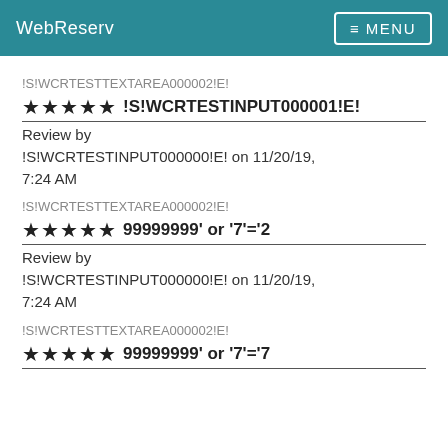WebReserv  ≡ MENU
!S!WCRTESTTEXTAREA000002!E!
★★★★★ !S!WCRTESTINPUT000001!E!
Review by !S!WCRTESTINPUT000000!E! on 11/20/19, 7:24 AM
!S!WCRTESTTEXTAREA000002!E!
★★★★★ 99999999' or '7'='2
Review by !S!WCRTESTINPUT000000!E! on 11/20/19, 7:24 AM
!S!WCRTESTTEXTAREA000002!E!
★★★★★ 99999999' or '7'='7